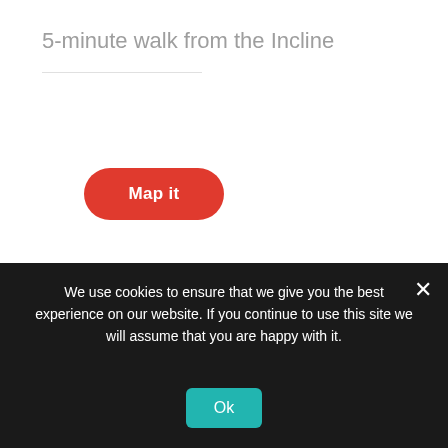5-minute walk from the Incline
[Figure (screenshot): Red oval button labeled 'Map it']
[Figure (photo): The Battles for Chattanooga Museum promotional image with black background, museum title text on left and a Civil War soldier portrait on the right]
We use cookies to ensure that we give you the best experience on our website. If you continue to use this site we will assume that you are happy with it.
[Figure (screenshot): Teal/cyan 'Ok' button in cookie consent bar]